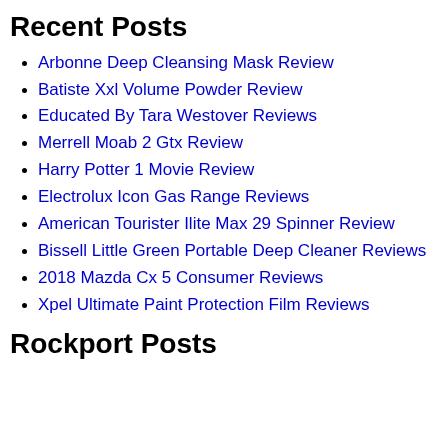Recent Posts
Arbonne Deep Cleansing Mask Review
Batiste Xxl Volume Powder Review
Educated By Tara Westover Reviews
Merrell Moab 2 Gtx Review
Harry Potter 1 Movie Review
Electrolux Icon Gas Range Reviews
American Tourister Ilite Max 29 Spinner Review
Bissell Little Green Portable Deep Cleaner Reviews
2018 Mazda Cx 5 Consumer Reviews
Xpel Ultimate Paint Protection Film Reviews
Rockport Posts